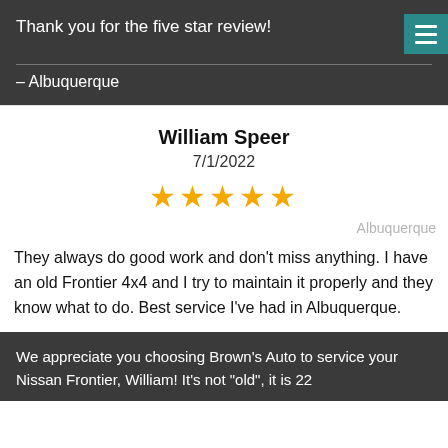Thank you for the five star review!
- Albuquerque
William Speer
7/1/2022
[Figure (other): Five gold star rating icons]
Albuquerque
They always do good work and don't miss anything. I have an old Frontier 4x4 and I try to maintain it properly and they know what to do. Best service I've had in Albuquerque.
We appreciate you choosing Brown's Auto to service your Nissan Frontier, William! It's not "old", it is 22